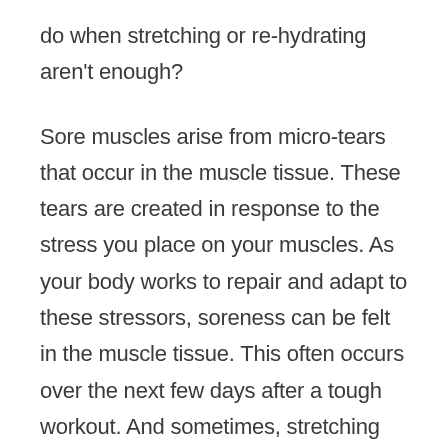do when stretching or re-hydrating aren't enough?
Sore muscles arise from micro-tears that occur in the muscle tissue. These tears are created in response to the stress you place on your muscles. As your body works to repair and adapt to these stressors, soreness can be felt in the muscle tissue. This often occurs over the next few days after a tough workout. And sometimes, stretching just doesn't cut it.
You might struggle to comfortably rise from a seated position. Walking might give way to